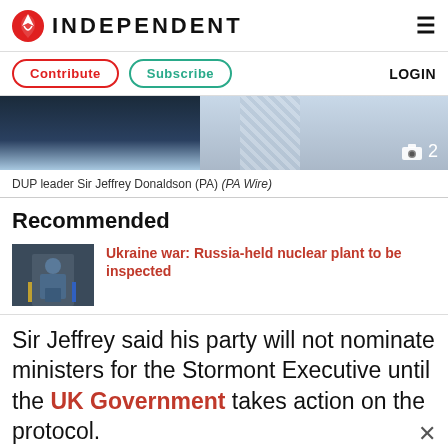INDEPENDENT
[Figure (logo): The Independent logo with red eagle emblem and INDEPENDENT wordmark]
Contribute  Subscribe  LOGIN
[Figure (photo): DUP leader Sir Jeffrey Donaldson photo strip showing suit and tie, with camera icon and number 2]
DUP leader Sir Jeffrey Donaldson (PA) (PA Wire)
Recommended
[Figure (photo): Thumbnail photo of person at podium for Ukraine war article]
Ukraine war: Russia-held nuclear plant to be inspected
Sir Jeffrey said his party will not nominate ministers for the Stormont Executive until the UK Government takes action on the protocol.